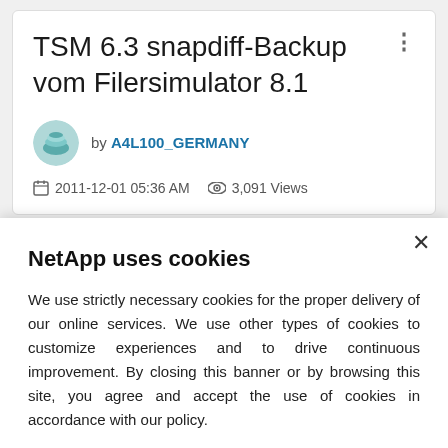TSM 6.3 snapdiff-Backup vom Filersimulator 8.1
by A4L100_GERMANY
2011-12-01 05:36 AM  3,091 Views
NetApp uses cookies
We use strictly necessary cookies for the proper delivery of our online services. We use other types of cookies to customize experiences and to drive continuous improvement. By closing this banner or by browsing this site, you agree and accept the use of cookies in accordance with our policy.
Accept all cookies
Cookie settings